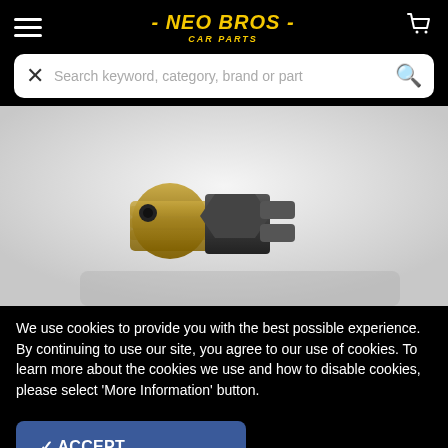- NEO BROS - CAR PARTS
Search keyword, category, brand or part
[Figure (photo): Close-up photo of a metal car part (likely a sensor or fitting) with brass threaded body and dark plastic connector, on a white background]
We use cookies to provide you with the best possible experience. By continuing to use our site, you agree to our use of cookies. To learn more about the cookies we use and how to disable cookies, please select 'More Information' button.
✓ ACCEPT
MORE INFORMATION ▶